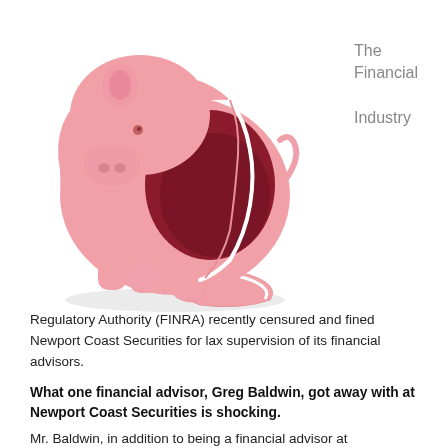[Figure (photo): A broken pink ceramic piggy bank, shattered with pieces fallen around it, revealing a dark red interior.]
The Financial Industry
Regulatory Authority (FINRA) recently censured and fined Newport Coast Securities for lax supervision of its financial advisors.
What one financial advisor, Greg Baldwin, got away with at Newport Coast Securities is shocking.
Mr. Baldwin, in addition to being a financial advisor at